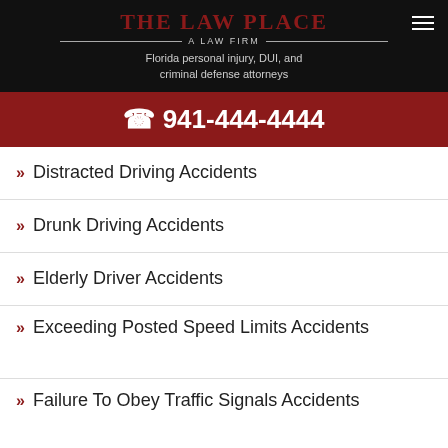THE LAW PLACE — A LAW FIRM — Florida personal injury, DUI, and criminal defense attorneys
941-444-4444
Distracted Driving Accidents
Drunk Driving Accidents
Elderly Driver Accidents
Exceeding Posted Speed Limits Accidents
Failure To Obey Traffic Signals Accidents
Head-On Collisions